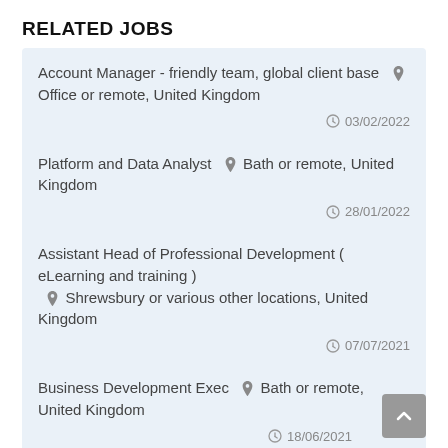RELATED JOBS
Account Manager - friendly team, global client base  📍 Office or remote, United Kingdom  03/02/2022
Platform and Data Analyst  📍 Bath or remote, United Kingdom  28/01/2022
Assistant Head of Professional Development ( eLearning and training )  📍 Shrewsbury or various other locations, United Kingdom  07/07/2021
Business Development Exec  📍 Bath or remote, United Kingdom  18/06/2021